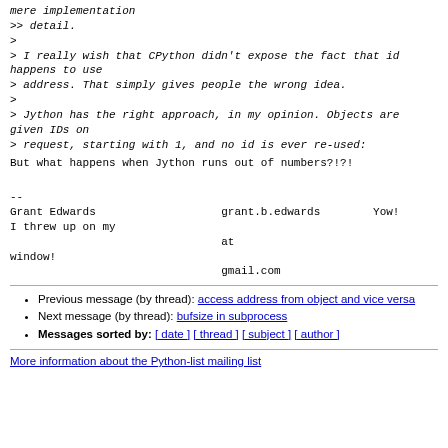mere implementation
>> detail.
>
> I really wish that CPython didn't expose the fact that id happens to use
> address. That simply gives people the wrong idea.
>
> Jython has the right approach, in my opinion. Objects are given IDs on
> request, starting with 1, and no id is ever re-used:
But what happens when Jython runs out of numbers?!?!
--
Grant Edwards                   grant.b.edwards        Yow!
I threw up on my
                                at
window!
                                gmail.com
Previous message (by thread): access address from object and vice versa
Next message (by thread): bufsize in subprocess
Messages sorted by: [ date ] [ thread ] [ subject ] [ author ]
More information about the Python-list mailing list